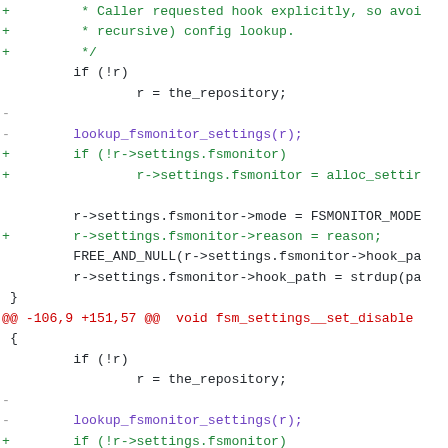[Figure (screenshot): A code diff view showing git patch changes to fsmonitor settings functions in C, with added lines in green/teal, removed lines in grey, and hunk headers in red.]